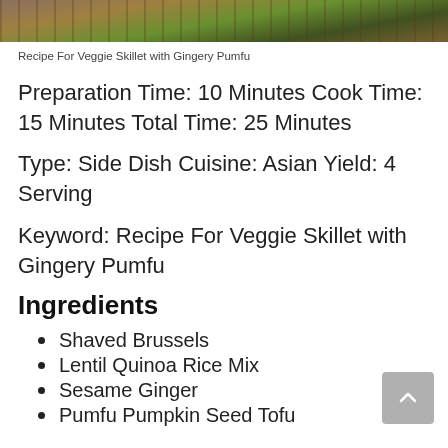[Figure (photo): Top portion of a skillet with cooked veggie dish visible at top of page]
Recipe For Veggie Skillet with Gingery Pumfu
Preparation Time: 10 Minutes Cook Time: 15 Minutes Total Time: 25 Minutes
Type: Side Dish Cuisine: Asian Yield: 4 Serving
Keyword: Recipe For Veggie Skillet with Gingery Pumfu
Ingredients
Shaved Brussels
Lentil Quinoa Rice Mix
Sesame Ginger
Pumfu Pumpkin Seed Tofu